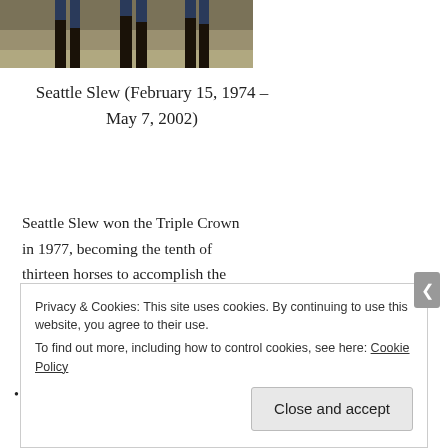[Figure (photo): Partial photograph showing horse legs and grass at the bottom, dark background]
Seattle Slew (February 15, 1974 – May 7, 2002)
Seattle Slew won the Triple Crown in 1977, becoming the tenth of thirteen horses to accomplish the feat. He was the first of only two horses to have won the Triple Crown while having been undefeated in any previous race (later joined by the second race horse Justify, who won
Privacy & Cookies: This site uses cookies. By continuing to use this website, you agree to their use.
To find out more, including how to control cookies, see here: Cookie Policy

Close and accept